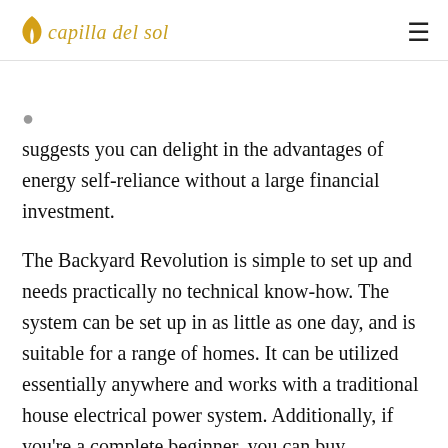capilla del sol
suggests you can delight in the advantages of energy self-reliance without a large financial investment.
The Backyard Revolution is simple to set up and needs practically no technical know-how. The system can be set up in as little as one day, and is suitable for a range of homes. It can be utilized essentially anywhere and works with a traditional house electrical power system. Additionally, if you're a complete beginner, you can buy